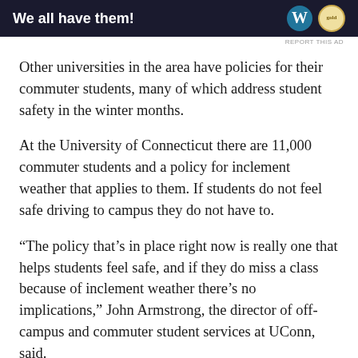[Figure (other): Advertisement banner with dark navy background reading 'We all have them!' with WordPress logo and gold badge on the right side]
Other universities in the area have policies for their commuter students, many of which address student safety in the winter months.
At the University of Connecticut there are 11,000 commuter students and a policy for inclement weather that applies to them. If students do not feel safe driving to campus they do not have to.
“The policy that’s in place right now is really one that helps students feel safe, and if they do miss a class because of inclement weather there’s no implications,” John Armstrong, the director of off-campus and commuter student services at UConn, said.
The administration at Sacred Heart University...